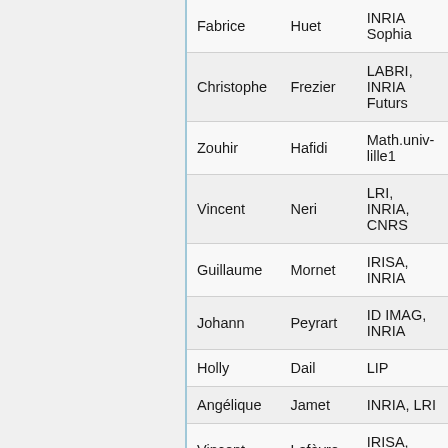| First | Last | Affiliation |
| --- | --- | --- |
| Fabrice | Huet | INRIA Sophia |
| Christophe | Frezier | LABRI, INRIA Futurs |
| Zouhir | Hafidi | Math.univ-lille1 |
| Vincent | Neri | LRI, INRIA, CNRS |
| Guillaume | Mornet | IRISA, INRIA |
| Johann | Peyrart | ID IMAG, INRIA |
| Holly | Dail | LIP |
| Angélique | Jamet | INRIA, LRI |
| Vincent | Lefèvre | IRISA, INRIA |
| Sebastien | Georget | INRIA Sophia |